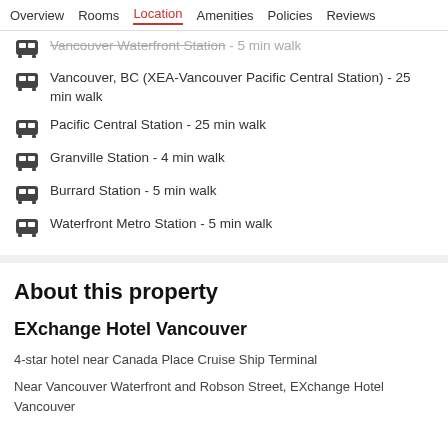Overview  Rooms  Location  Amenities  Policies  Reviews
Vancouver Waterfront Station - 5 min walk
Vancouver, BC (XEA-Vancouver Pacific Central Station) - 25 min walk
Pacific Central Station - 25 min walk
Granville Station - 4 min walk
Burrard Station - 5 min walk
Waterfront Metro Station - 5 min walk
About this property
EXchange Hotel Vancouver
4-star hotel near Canada Place Cruise Ship Terminal
Near Vancouver Waterfront and Robson Street, EXchange Hotel Vancouver provides friendly staff and...